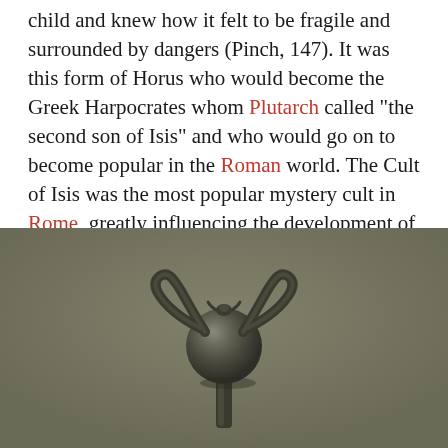child and knew how it felt to be fragile and surrounded by dangers (Pinch, 147). It was this form of Horus who would become the Greek Harpocrates whom Plutarch called "the second son of Isis" and who would go on to become popular in the Roman world. The Cult of Isis was the most popular mystery cult in Rome, greatly influencing the development of Christianity, and Harpocrates was the divine son depicted in ancient Roman art with his mother.
[Figure (photo): A dark bronze or metal ancient figurine/amulet photographed against a muted olive-brown background. The artifact appears to be a small sculptural object with a spherical central element and two upward-curving arms or prongs extending from the top, resembling a lotus or crown shape.]